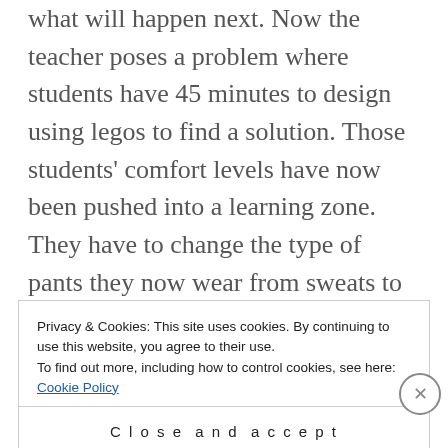what will happen next. Now the teacher poses a problem where students have 45 minutes to design using legos to find a solution. Those students' comfort levels have now been pushed into a learning zone. They have to change the type of pants they now wear from sweats to dress pants. The solutions that students come up with to solve the problem weren't known by the teacher ahead of time. The teacher has now had to change their pants from sweats to dress pants. Both have now had to move their zones of comfort all because of one type of
Privacy & Cookies: This site uses cookies. By continuing to use this website, you agree to their use.
To find out more, including how to control cookies, see here: Cookie Policy
Close and accept